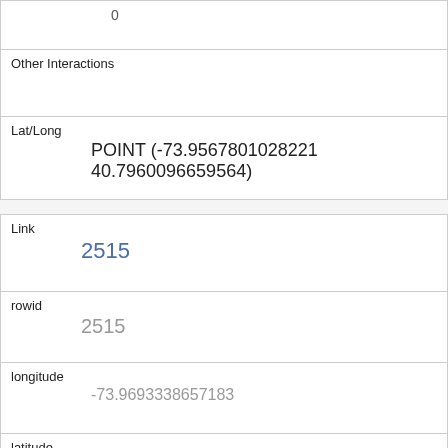| 0 | Other Interactions |  | Lat/Long | POINT (-73.9567801028221 40.7960096659564) |
| Link | 2515 |
| rowid | 2515 |
| longitude | -73.9693338657183 |
| latitude | 40.7757055588453796 |
| Unique Squirrel ID | 13F-PM-1008-05 |
| Hectare | 13F |
| Shift | PM |
| Date |  |